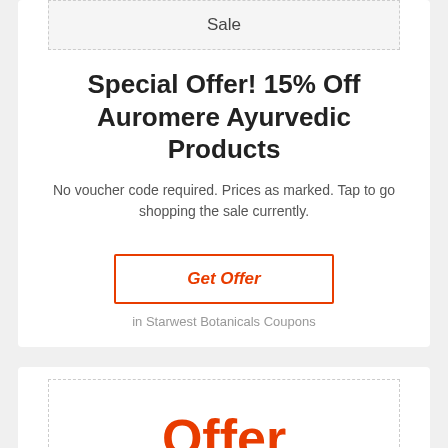[Figure (other): Sale badge box with dashed border and light gray background, showing the word 'Sale']
Special Offer! 15% Off Auromere Ayurvedic Products
No voucher code required. Prices as marked. Tap to go shopping the sale currently.
Get Offer
in Starwest Botanicals Coupons
[Figure (other): Offer badge box with dashed border showing 'Offer' in large bold red text, followed by a Sale box below]
Sale